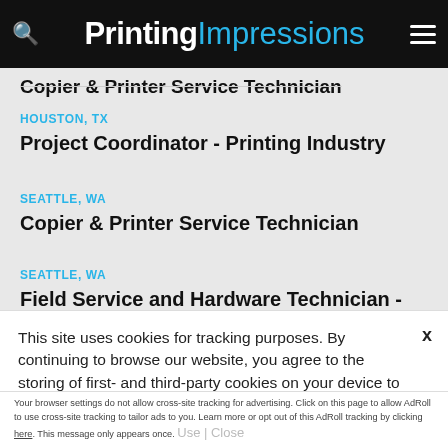Printing Impressions
Copier & Printer Service Technician (cropped top)
HOUSTON, TX
Project Coordinator - Printing Industry
SEATTLE, WA
Copier & Printer Service Technician
SEATTLE, WA
Field Service and Hardware Technician - Copier...
This site uses cookies for tracking purposes. By continuing to browse our website, you agree to the storing of first- and third-party cookies on your device to enhance site navigation, analyze site usage, and assist in our marketing and
Accept and Close ✕
Your browser settings do not allow cross-site tracking for advertising. Click on this page to allow AdRoll to use cross-site tracking to tailor ads to you. Learn more or opt out of this AdRoll tracking by clicking here. This message only appears once.